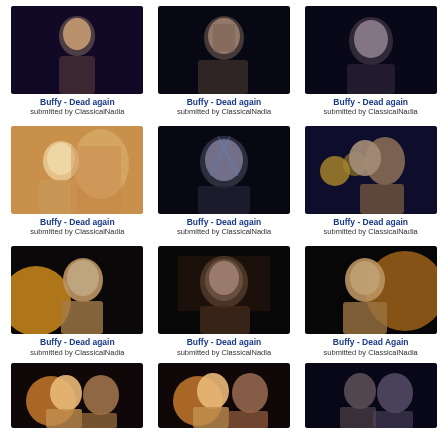[Figure (photo): Grid of video/screenshot thumbnails from 'Buffy - Dead again', all submitted by ClassicalNadia. 3 columns x 4 rows of screenshots from the show, mostly dark/night scenes with characters.]
Buffy - Dead again
submitted by ClassicalNadia
Buffy - Dead again
submitted by ClassicalNadia
Buffy - Dead again
submitted by ClassicalNadia
Buffy - Dead again
submitted by ClassicalNadia
Buffy - Dead again
submitted by ClassicalNadia
Buffy - Dead again
submitted by ClassicalNadia
Buffy - Dead again
submitted by ClassicalNadia
Buffy - Dead again
submitted by ClassicalNadia
Buffy - Dead Again
submitted by ClassicalNadia